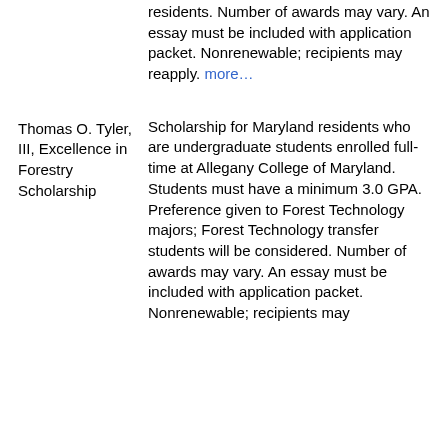residents. Number of awards may vary. An essay must be included with application packet. Nonrenewable; recipients may reapply. more…
Thomas O. Tyler, III, Excellence in Forestry Scholarship
Scholarship for Maryland residents who are undergraduate students enrolled full-time at Allegany College of Maryland. Students must have a minimum 3.0 GPA. Preference given to Forest Technology majors; Forest Technology transfer students will be considered. Number of awards may vary. An essay must be included with application packet. Nonrenewable; recipients may